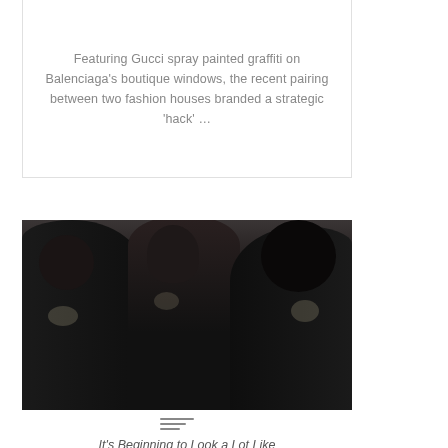Featuring Gucci spray painted graffiti on Balenciaga's boutique windows, the recent pairing between two fashion houses branded a strategic 'hack' …
[Figure (photo): Three fashion models wearing dark embellished clothing, one with large afro hair, posed together against a light background]
[Figure (other): Article/text icon with three horizontal lines of decreasing width]
It's Beginning to Look a Lot Like